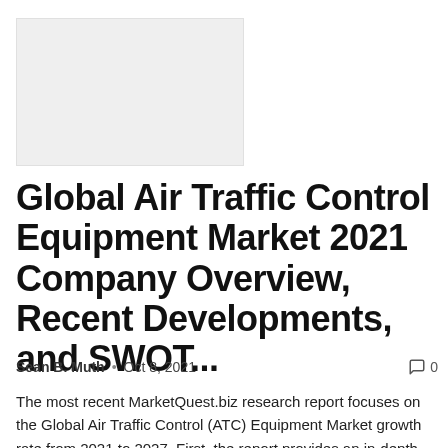[Figure (other): Blank light gray placeholder image]
Global Air Traffic Control Equipment Market 2021 Company Overview, Recent Developments, and SWOT...
Sean B. Muth · Oct 8, 2021   🗨 0
The most recent MarketQuest.biz research report focuses on the Global Air Traffic Control (ATC) Equipment Market growth rate from 2021 to 2027. First, the report provides an in-depth examination of the Air Traffic Control (ATC)